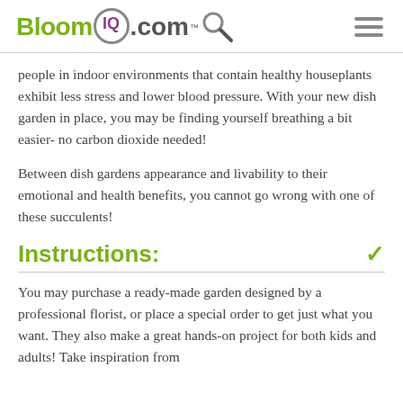BloomIQ.com
people in indoor environments that contain healthy houseplants exhibit less stress and lower blood pressure. With your new dish garden in place, you may be finding yourself breathing a bit easier- no carbon dioxide needed!
Between dish gardens appearance and livability to their emotional and health benefits, you cannot go wrong with one of these succulents!
Instructions:
You may purchase a ready-made garden designed by a professional florist, or place a special order to get just what you want. They also make a great hands-on project for both kids and adults! Take inspiration from